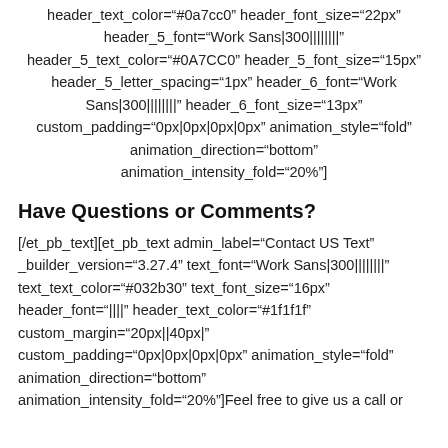header_text_color="#0a7cc0" header_font_size="22px" header_5_font="Work Sans|300||||||||" header_5_text_color="#0A7CC0" header_5_font_size="15px" header_5_letter_spacing="1px" header_6_font="Work Sans|300||||||||" header_6_font_size="13px" custom_padding="0px|0px|0px|0px" animation_style="fold" animation_direction="bottom" animation_intensity_fold="20%"]
Have Questions or Comments?
[/et_pb_text][et_pb_text admin_label="Contact US Text" _builder_version="3.27.4" text_font="Work Sans|300||||||||" text_text_color="#032b30" text_font_size="16px" header_font="||||" header_text_color="#1f1f1f" custom_margin="20px||40px|" custom_padding="0px|0px|0px|0px" animation_style="fold" animation_direction="bottom" animation_intensity_fold="20%"]Feel free to give us a call or